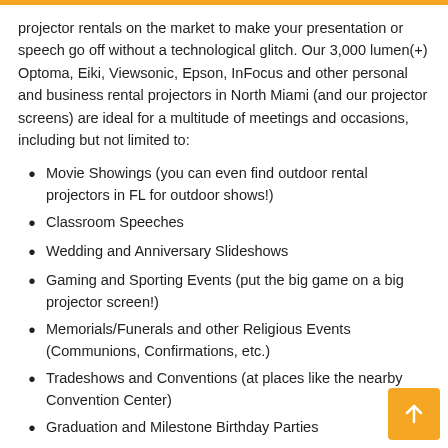projector rentals on the market to make your presentation or speech go off without a technological glitch. Our 3,000 lumen(+) Optoma, Eiki, Viewsonic, Epson, InFocus and other personal and business rental projectors in North Miami (and our projector screens) are ideal for a multitude of meetings and occasions, including but not limited to:
Movie Showings (you can even find outdoor rental projectors in FL for outdoor shows!)
Classroom Speeches
Wedding and Anniversary Slideshows
Gaming and Sporting Events (put the big game on a big projector screen!)
Memorials/Funerals and other Religious Events (Communions, Confirmations, etc.)
Tradeshows and Conventions (at places like the nearby Convention Center)
Graduation and Milestone Birthday Parties